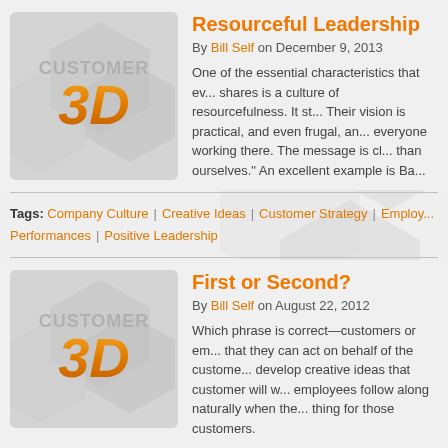[Figure (logo): Customer 3D logo thumbnail with grey background and orange 3D text]
Resourceful Leadership
By Bill Self on December 9, 2013
One of the essential characteristics that every great company shares is a culture of resourcefulness. It st... Their vision is practical, and even frugal, an... everyone working there. The message is cl... than ourselves." An excellent example is Ba...
Tags: Company Culture | Creative Ideas | Customer Strategy | Employ... Performances | Positive Leadership
[Figure (logo): Customer 3D logo thumbnail with grey background and orange 3D text]
First or Second?
By Bill Self on August 22, 2012
Which phrase is correct—customers or em... that they can act on behalf of the custome... develop creative ideas that customer will w... employees follow along naturally when the... thing for those customers.